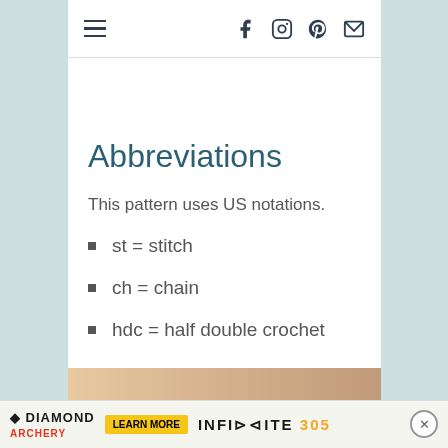Navigation bar with hamburger menu and social icons (Facebook, Instagram, Pinterest, Mail)
Abbreviations
This pattern uses US notations.
st = stitch
ch = chain
hdc = half double crochet
Diamond Archery advertisement - LEARN MORE - INFINITE 305